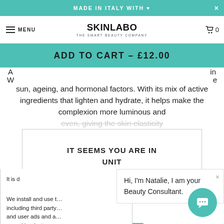MADE IN ITALY WITH ♥
[Figure (screenshot): SkinLabo navigation bar with logo, menu, and cart icon showing 0 items]
[Figure (screenshot): Add to Cart button overlay - teal background with text ADD TO CART - £12.00]
sun, ageing, and hormonal factors. With its mix of active ingredients that lighten and hydrate, it helps make the complexion more luminous and even, giving the skin elasticity
[Figure (screenshot): Modal dialog: IT SEEMS YOU ARE IN UNIT]
It is d...
We install and use t... including third party... and user ads and a... you with a better se... the cookie policy.
Hi, I'm Natalie, I am your Beauty Consultant.
[Figure (screenshot): Accept and Decline cookie buttons, and teal chat bubble button]
cookie policy.